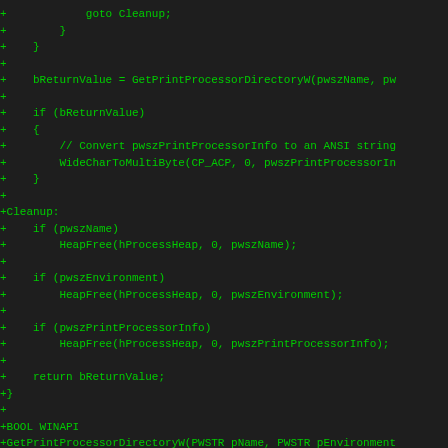[Figure (screenshot): Code diff screenshot showing C/C++ source code additions (green '+' lines) on a dark background. The code shows a function involving GetPrintProcessorDirectoryW, WideCharToMultiByte, HeapFree calls, and the beginning of a BOOL WINAPI GetPrintProcessorDirectoryW function definition.]